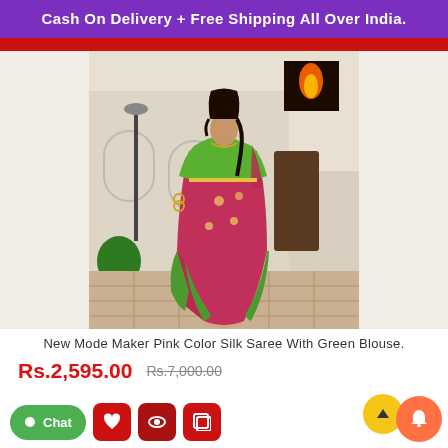Cash On Delivery + Free Shipping All Over India.
[Figure (photo): Woman wearing a pink silk saree with green blouse, standing in front of a white building exterior]
New Mode Maker Pink Color Silk Saree With Green Blouse.
Rs.2,595.00  Rs.7,000.00